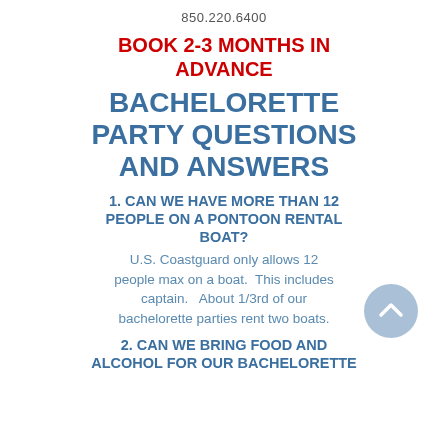850.220.6400
BOOK 2-3 MONTHS IN ADVANCE
BACHELORETTE PARTY QUESTIONS AND ANSWERS
1. CAN WE HAVE MORE THAN 12 PEOPLE ON A PONTOON RENTAL BOAT?
U.S. Coastguard only allows 12 people max on a boat.  This includes captain.   About 1/3rd of our bachelorette parties rent two boats.
2. CAN WE BRING FOOD AND ALCOHOL FOR OUR BACHELORETTE